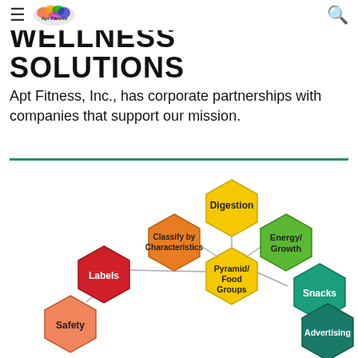Apt Fitness, Inc. — navigation header with hamburger menu and search icon
WELLNESS SOLUTIONS
Apt Fitness, Inc., has corporate partnerships with companies that support our mission.
[Figure (infographic): Hexagonal diagram showing food/nutrition topics: Digestion (yellow), Classify by Characteristics (orange), Energy/Growth (green), Pyramid/Food Groups (yellow, center), Labels (red), Snacks (teal), Safety (orange-pink), Advertising (dark teal). Connected by lines radiating from center.]